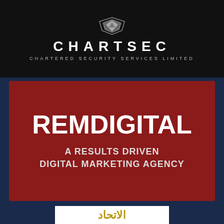[Figure (logo): CHARTSEC - Chartered Security Services Limited logo on black background with silver emblem]
[Figure (logo): REMDIGITAL - A Results Driven Digital Marketing Agency logo on dark red background with white text]
[Figure (logo): Al Ittihad Arabic text logo on white background in gold color]